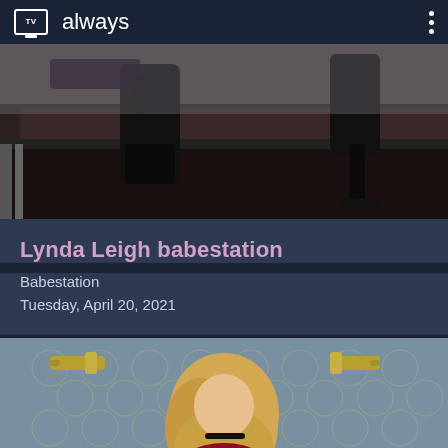TV always
[Figure (photo): Top thumbnail showing legs in black thigh-high boots on a black surface]
Lynda Leigh babestation
Babestation
Tuesday, April 20, 2021
[Figure (photo): Bottom thumbnail showing a blonde woman in red lingerie against a tiled wall with gold wall sconces]